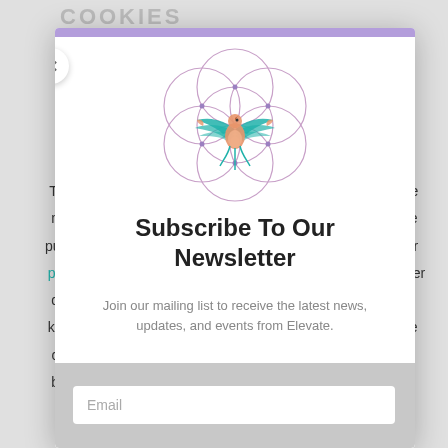COOKIES
This are ne me purp our priv user da to kno the co is ba to
[Figure (logo): Circular geometric flower-of-life pattern with a colorful bird (dove/hummingbird) with teal and orange wings in the center, drawn in teal and peach outline style]
Subscribe To Our Newsletter
Join our mailing list to receive the latest news, updates, and events from Elevate.
Email